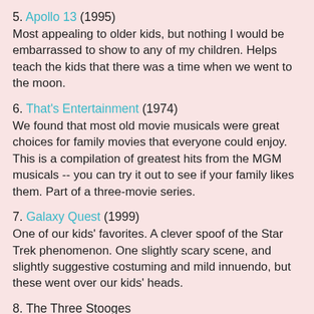5. Apollo 13 (1995)
Most appealing to older kids, but nothing I would be embarrassed to show to any of my children.  Helps teach the kids that there was a time when we went to the moon.
6. That's Entertainment (1974)
We found that most old movie musicals were great choices for family movies that everyone could enjoy.  This is a compilation of greatest hits from the MGM musicals -- you can try it out to see if your family likes them.  Part of a three-movie series.
7.  Galaxy Quest (1999)
One of our kids' favorites.  A clever spoof of the Star Trek phenomenon.  One slightly scary scene, and slightly suggestive costuming and mild innuendo, but these went over our kids' heads.
8.  The Three Stooges
(No Link necessary!!)  Of course, this will be controversial - you either love them or hate them.  Since my husband, as a child...